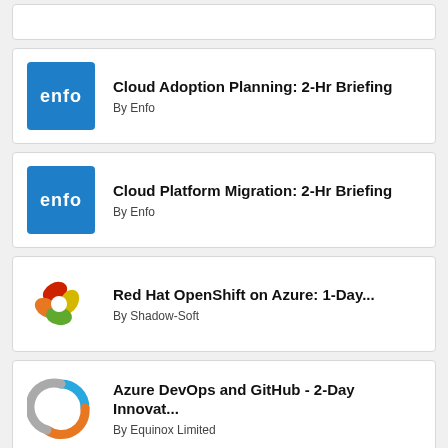Cloud Adoption Planning: 2-Hr Briefing — By Enfo
Cloud Platform Migration: 2-Hr Briefing — By Enfo
Red Hat OpenShift on Azure: 1-Day... — By Shadow-Soft
Azure DevOps and GitHub - 2-Day Innovat... — By Equinox Limited